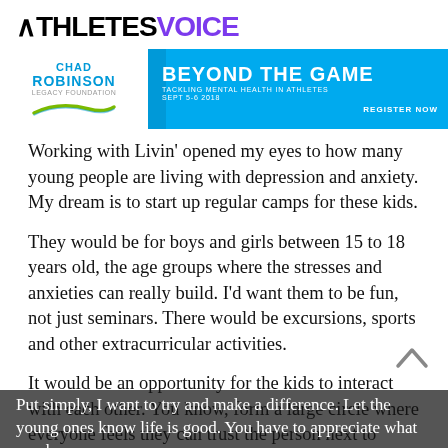ATHLETES VOICE
[Figure (infographic): CHAD ROBINSON FOUNDATION banner ad — BEYOND THE GAME: Tackling Mental Health in Athletes, Sept 5-6 2018. Register Now.]
Working with Livin' opened my eyes to how many young people are living with depression and anxiety. My dream is to start up regular camps for these kids.
They would be for boys and girls between 15 to 18 years old, the age groups where the stresses and anxieties can really build. I'd want them to be fun, not just seminars. There would be excursions, sports and other extracurricular activities.
It would be an opportunity for the kids to interact with each other. You know, form a large circle where everyone feels they can trust the person next to them. People they can discuss things with and people they can lean on. It woul like a family away from their own families.
Put simply, I want to try and make a difference. Let the young ones know life is good. You have to appreciate what you have
Share